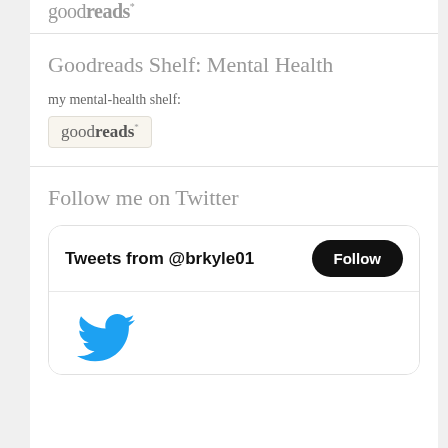[Figure (logo): Goodreads logo partially visible at top, gray text]
Goodreads Shelf: Mental Health
my mental-health shelf:
[Figure (logo): Goodreads badge/button with tan background and border]
Follow me on Twitter
[Figure (screenshot): Twitter widget showing 'Tweets from @brkyle01' with Follow button and Twitter bird icon]